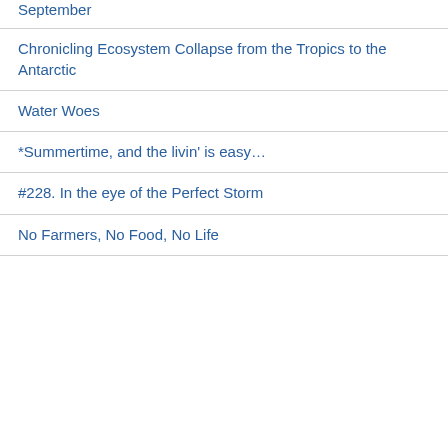September
Chronicling Ecosystem Collapse from the Tropics to the Antarctic
Water Woes
*Summertime, and the livin' is easy…
#228. In the eye of the Perfect Storm
No Farmers, No Food, No Life